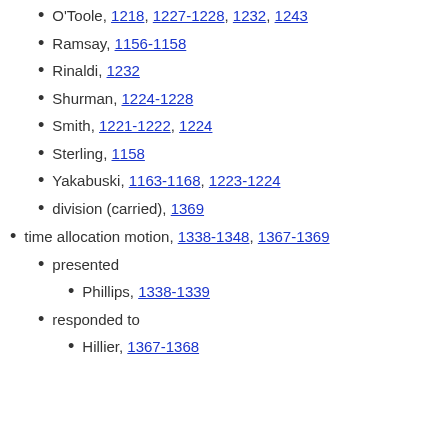O'Toole, 1218, 1227-1228, 1232, 1243
Ramsay, 1156-1158
Rinaldi, 1232
Shurman, 1224-1228
Smith, 1221-1222, 1224
Sterling, 1158
Yakabuski, 1163-1168, 1223-1224
division (carried), 1369
time allocation motion, 1338-1348, 1367-1369
presented
Phillips, 1338-1339
responded to
Hillier, 1367-1368